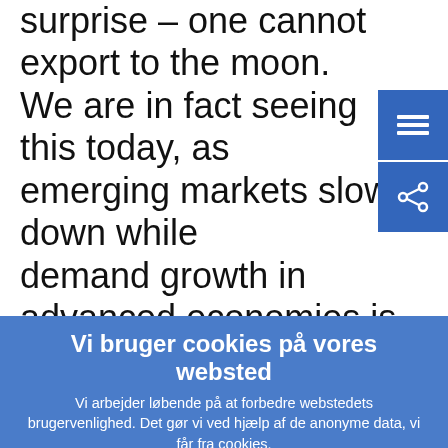surprise – one cannot export to the moon. We are in fact seeing this today, as emerging markets slow down while demand growth in advanced economies is not sufficiently robust to pick up the slack.
Vi bruger cookies på vores websted
Vi arbejder løbende på at forbedre webstedets brugervenlighed. Det gør vi ved hjælp af de anonyme data, vi får fra cookies.
› Få mere at vide om, hvordan vi bruger cookies
✓ Jeg forstår, og jeg accepterer brugen af cookies
✗ Jeg accepterer ikke brugen af cookies